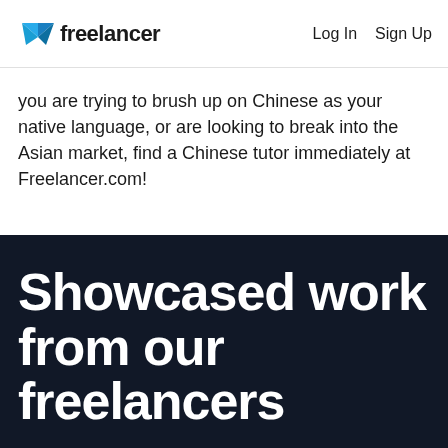freelancer  Log In  Sign Up
you are trying to brush up on Chinese as your native language, or are looking to break into the Asian market, find a Chinese tutor immediately at Freelancer.com!
Showcased work from our freelancers